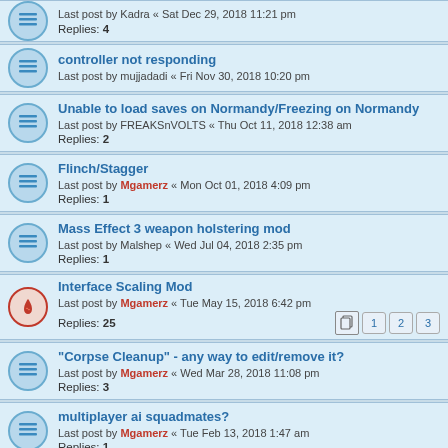Last post by Kadra « Sat Dec 29, 2018 11:21 pm
Replies: 4
controller not responding
Last post by mujjadadi « Fri Nov 30, 2018 10:20 pm
Unable to load saves on Normandy/Freezing on Normandy
Last post by FREAKSnVOLTS « Thu Oct 11, 2018 12:38 am
Replies: 2
Flinch/Stagger
Last post by Mgamerz « Mon Oct 01, 2018 4:09 pm
Replies: 1
Mass Effect 3 weapon holstering mod
Last post by Malshep « Wed Jul 04, 2018 2:35 pm
Replies: 1
Interface Scaling Mod
Last post by Mgamerz « Tue May 15, 2018 6:42 pm
Replies: 25
Pages: 1 2 3
"Corpse Cleanup" - any way to edit/remove it?
Last post by Mgamerz « Wed Mar 28, 2018 11:08 pm
Replies: 3
multiplayer ai squadmates?
Last post by Mgamerz « Tue Feb 13, 2018 1:47 am
Replies: 1
Mass Effect 3 SP Controller Support
Last post by Mgamerz « Tue Jan 02, 2018 5:50 am
Replies: 359
Pages: 1 ... 33 34 35 36
Mass Effect 3 ASI Mods